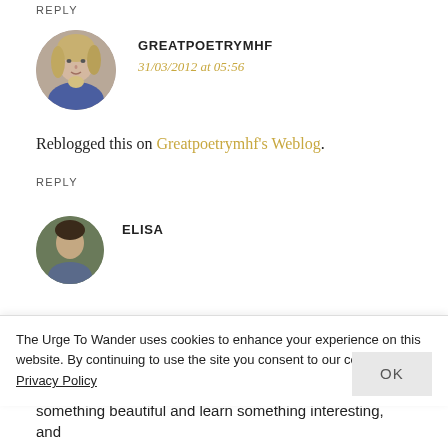REPLY
[Figure (photo): Circular avatar photo of a woman with blonde hair and blue top, for user GREATPOETRYMHF]
GREATPOETRYMHF
31/03/2012 at 05:56
Reblogged this on Greatpoetrymhf's Weblog.
REPLY
[Figure (photo): Circular avatar photo partially visible for user ELISA]
ELISA
The Urge To Wander uses cookies to enhance your experience on this website. By continuing to use the site you consent to our cookies. Privacy Policy
OK
something beautiful and learn something interesting, and